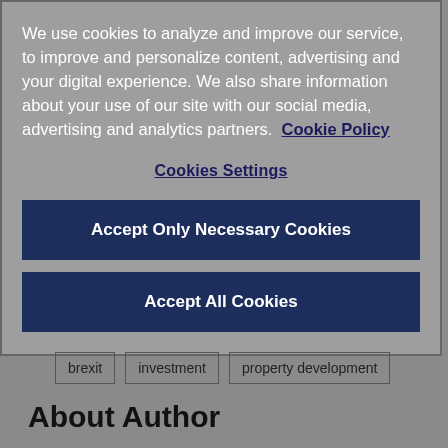We use cookies to analyze and improve our service, to improve and personalize content, advertising and your digital experience. We also share information about your use of our site with our social media, advertising and analytics partners.  Cookie Policy
Cookies Settings
Accept Only Necessary Cookies
Accept All Cookies
brexit
investment
property development
About Author